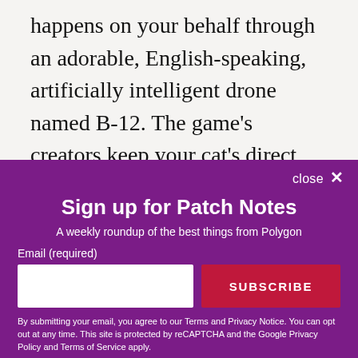happens on your behalf through an adorable, English-speaking, artificially intelligent drone named B-12. The game's creators keep your cat's direct involvement ambiguous. Is the cat the savior of a dying planet? Or is the cat just a cat who happens to be the incidental shepherd of historic change? Like I
[Figure (screenshot): A modal popup overlay on a purple background with title 'Sign up for Patch Notes', subtitle 'A weekly roundup of the best things from Polygon', an email input field, a red SUBSCRIBE button, and legal disclaimer text. A 'close X' button appears in the top right.]